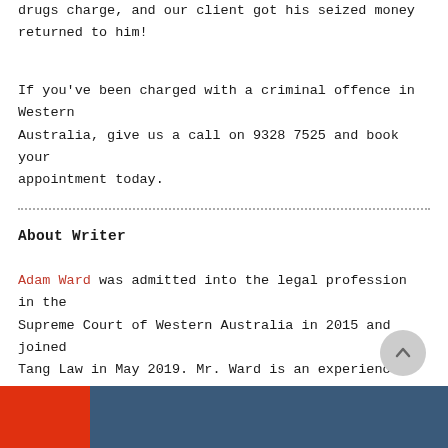drugs charge, and our client got his seized money returned to him!
If you've been charged with a criminal offence in Western Australia, give us a call on 9328 7525 and book your appointment today.
About Writer
Adam Ward was admitted into the legal profession in the Supreme Court of Western Australia in 2015 and joined Tang Law in May 2019. Mr. Ward is an experienced Criminal and Traffic Lawyer with extensive experience in representing clients in Courts on all issues relating to Traffic Law, Criminal Law, and Criminal Injury Compensation.
[Figure (photo): Footer with red block and dark photo of person in suit]